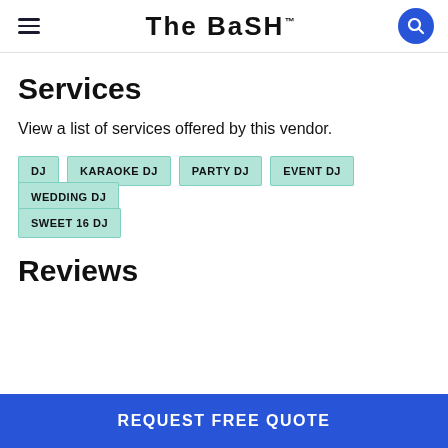The Bash
Services
View a list of services offered by this vendor.
DJ
KARAOKE DJ
PARTY DJ
EVENT DJ
WEDDING DJ
SWEET 16 DJ
Reviews
REQUEST FREE QUOTE